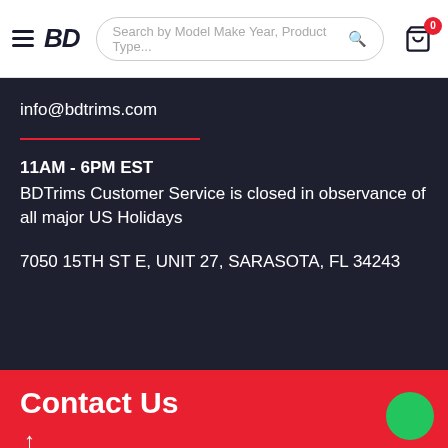BD — Search by Model Make Year, Product Type... [cart: 0]
info@bdtrims.com
11AM - 6PM EST
BDTrims Customer Service is closed in observance of all major US Holidays
7050 15TH ST E, UNIT 27, SARASOTA, FL 34243
Contact Us
Your name: